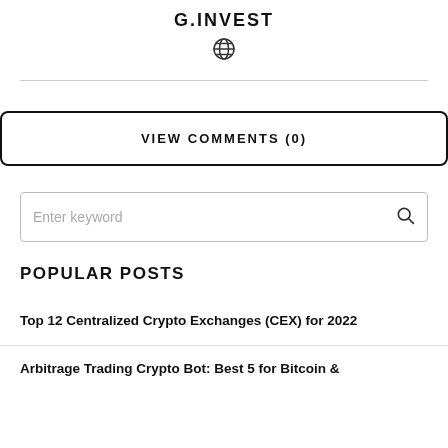G.INVEST
[Figure (other): Globe/world wide web icon]
VIEW COMMENTS (0)
Enter keyword
POPULAR POSTS
Top 12 Centralized Crypto Exchanges (CEX) for 2022
Arbitrage Trading Crypto Bot: Best 5 for Bitcoin &